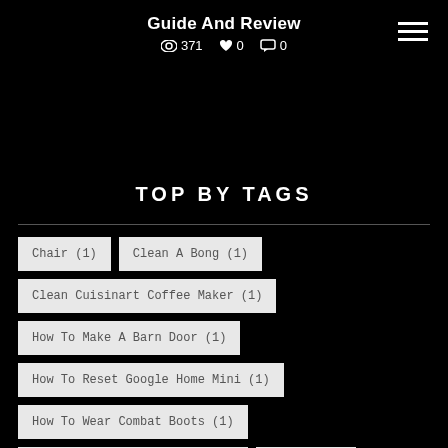Guide And Review
371  0  0
TOP BY TAGS
Chair (1)
Clean A Bong (1)
Clean Cuisinart Coffee Maker (1)
How To Make A Barn Door (1)
How To Reset Google Home Mini (1)
How To Wear Combat Boots (1)
Laundry Room Decor Ideas (1)
Shower (1)
Sink (2)
Solar (1)